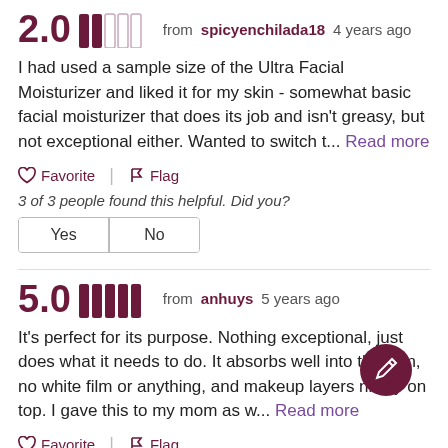2.0 from spicyenchilada18 4 years ago
I had used a sample size of the Ultra Facial Moisturizer and liked it for my skin - somewhat basic facial moisturizer that does its job and isn't greasy, but not exceptional either. Wanted to switch t... Read more
Favorite | Flag
3 of 3 people found this helpful. Did you?
Yes | No
5.0 from anhuys 5 years ago
It's perfect for its purpose. Nothing exceptional, just does what it needs to do. It absorbs well into the skin, no white film or anything, and makeup layers nicely on top. I gave this to my mom as w... Read more
Favorite | Flag